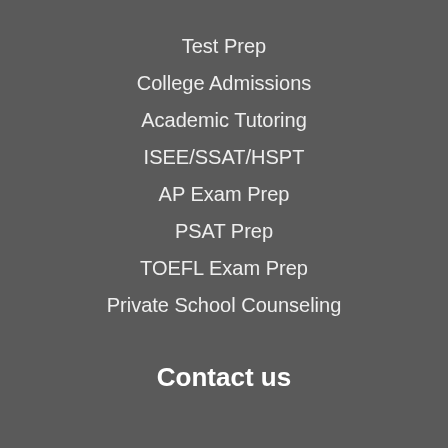Test Prep
College Admissions
Academic Tutoring
ISEE/SSAT/HSPT
AP Exam Prep
PSAT Prep
TOEFL Exam Prep
Private School Counseling
Contact us